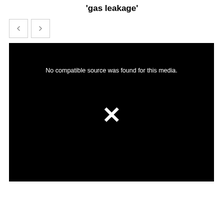'gas leakage'
[Figure (screenshot): Navigation buttons (previous and next arrows) followed by a black video player area showing 'No compatible source was found for this media.' with an X symbol in the center.]